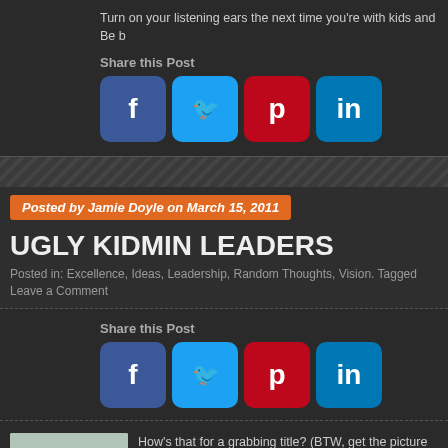Turn on your listening ears the next time you're with kids and Be b
Share this Post
[Figure (infographic): Social share buttons: Facebook (blue), Twitter (light blue), Pinterest (red), LinkedIn (blue)]
Posted by Jamie Doyle on March 15, 2011
UGLY KIDMIN LEADERS
Posted in: Excellence, Ideas, Leadership, Random Thoughts, Vision. Tagged
Leave a Comment
Share this Post
[Figure (infographic): Social share buttons: Facebook (blue), Twitter (light blue), Pinterest (red), LinkedIn (blue)]
[Figure (photo): Photo of a cowboy figure wearing a hat, outdoors]
How's that for a grabbing title? (BTW, get the picture referenc it true? Are you ugly?